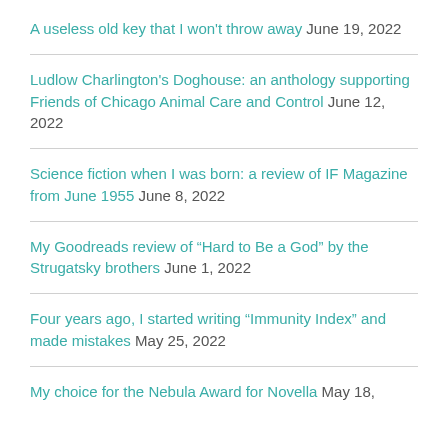A useless old key that I won't throw away June 19, 2022
Ludlow Charlington's Doghouse: an anthology supporting Friends of Chicago Animal Care and Control June 12, 2022
Science fiction when I was born: a review of IF Magazine from June 1955 June 8, 2022
My Goodreads review of “Hard to Be a God” by the Strugatsky brothers June 1, 2022
Four years ago, I started writing “Immunity Index” and made mistakes May 25, 2022
My choice for the Nebula Award for Novella May 18,